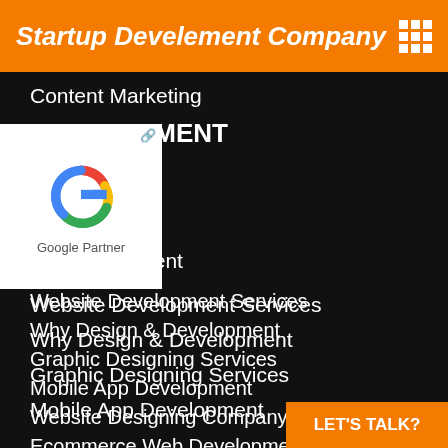Startup Develement Company
Content Marketing
DEVELOPMENT
[Figure (logo): Google Partner badge with Google G logo in red, blue, yellow, green colors and text 'Google Partner']
evelopment
op Development
Website Development Services
Why Design & Development
Graphic Designing Services
Mobile App Development
Website Designing Company
Ecommerce Web Development
Technology We Use
CMS Website Development
Wordpress Site Development
LET'S TALK?